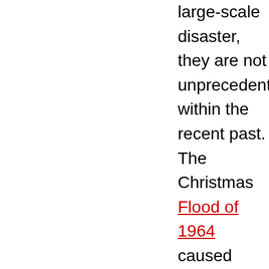large-scale disaster, they are not unprecedented within the recent past. The Christmas Flood of 1964 caused $157 million in damage statewide, and 20 Oregonians lost their lives. In addition to the '96 and '64 floods, Lane County has experiences several other